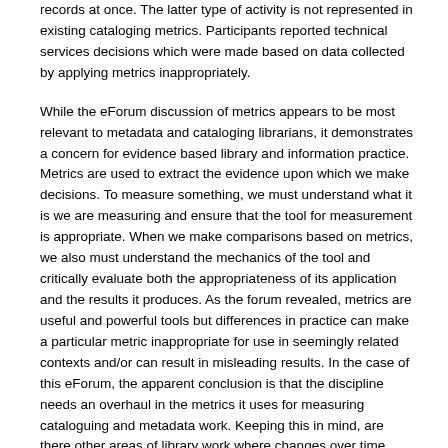records at once. The latter type of activity is not represented in existing cataloging metrics. Participants reported technical services decisions which were made based on data collected by applying metrics inappropriately.
While the eForum discussion of metrics appears to be most relevant to metadata and cataloging librarians, it demonstrates a concern for evidence based library and information practice. Metrics are used to extract the evidence upon which we make decisions. To measure something, we must understand what it is we are measuring and ensure that the tool for measurement is appropriate. When we make comparisons based on metrics, we also must understand the mechanics of the tool and critically evaluate both the appropriateness of its application and the results it produces. As the forum revealed, metrics are useful and powerful tools but differences in practice can make a particular metric inappropriate for use in seemingly related contexts and/or can result in misleading results. In the case of this eForum, the apparent conclusion is that the discipline needs an overhaul in the metrics it uses for measuring cataloguing and metadata work. Keeping this in mind, are there other areas of library work where changes over time and/or slight variations in practice have